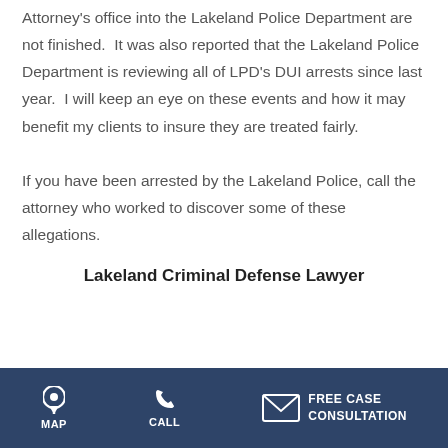Attorney's office into the Lakeland Police Department are not finished.  It was also reported that the Lakeland Police Department is reviewing all of LPD's DUI arrests since last year.  I will keep an eye on these events and how it may benefit my clients to insure they are treated fairly. If you have been arrested by the Lakeland Police, call the attorney who worked to discover some of these allegations.
Lakeland Criminal Defense Lawyer
MAP   CALL   FREE CASE CONSULTATION